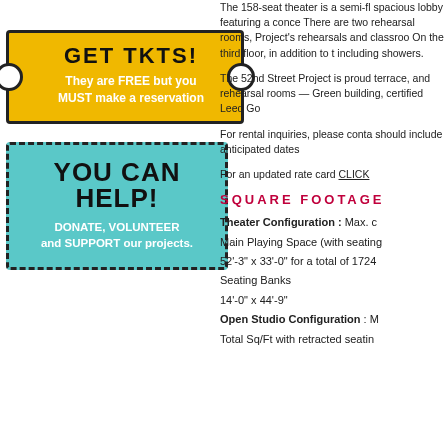[Figure (infographic): Yellow ticket-shaped banner with black border and white circular notches on sides. Text: GET TKTS! They are FREE but you MUST make a reservation]
[Figure (infographic): Teal/cyan rectangle with dashed black border. Text: YOU CAN HELP! DONATE, VOLUNTEER and SUPPORT our projects.]
The 158-seat theater is a semi-fl spacious lobby featuring a conce There are two rehearsal rooms, Project's rehearsals and classroo On the third floor, in addition to t including showers.
The 52nd Street Project is proud terrace, and rehearsal rooms — Green building, certified Leed Go
For rental inquiries, please conta should include anticipated dates
For an updated rate card CLICK
SQUARE FOOTAGE
Theater Configuration : Max. c
Main Playing Space (with seating
52'-3" x 33'-0" for a total of 1724
Seating Banks
14'-0" x 44'-9"
Open Studio Configuration : M
Total Sq/Ft with retracted seatin